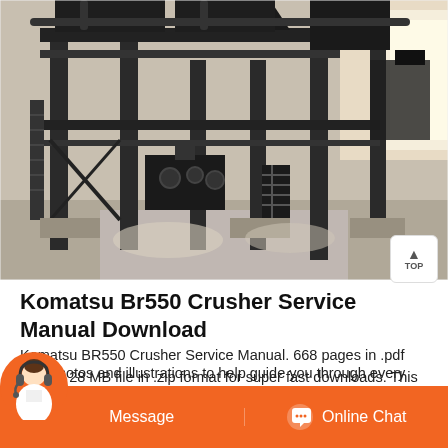[Figure (photo): Industrial heavy machinery interior — large metal framework, steel columns, conveyor/crusher equipment, pipes overhead, bright industrial lighting through windows in background.]
Komatsu Br550 Crusher Service Manual Download
Komatsu BR550 Crusher Service Manual. 668 pages in .pdf format. 28 MB file in .zip format for super fast downloads. This factory Komatsu Service Manual Download will give you complete step-by-step with photos and illustrations to help guide you through every repai...